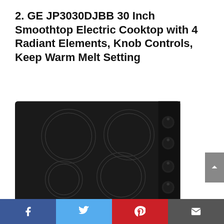2. GE JP3030DJBB 30 Inch Smoothtop Electric Cooktop with 4 Radiant Elements, Knob Controls, Keep Warm Melt Setting
[Figure (photo): GE JP3030DJBB black smoothtop electric cooktop with 4 circular radiant elements and 4 knob controls on the right side]